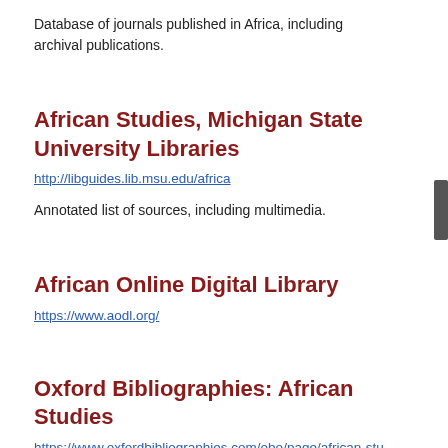Database of journals published in Africa, including archival publications.
African Studies, Michigan State University Libraries
http://libguides.lib.msu.edu/africa
Annotated list of sources, including multimedia.
African Online Digital Library
https://www.aodl.org/
Oxford Bibliographies: African Studies
https://www.oxfordbibliographies.com/obo/page/african-studies
Annotated bibliographies.